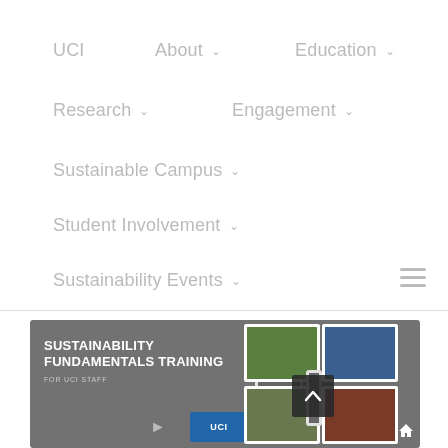UCI   About ∨   Education ∨   Research ∨   Engagement ∨   Sustainable Campus ∨   Student Involvement ∨   Sustainability Events ∨
[Figure (screenshot): Sustainability Fundamentals Training for UCI Staff banner with photo collage of campus images and phone devices]